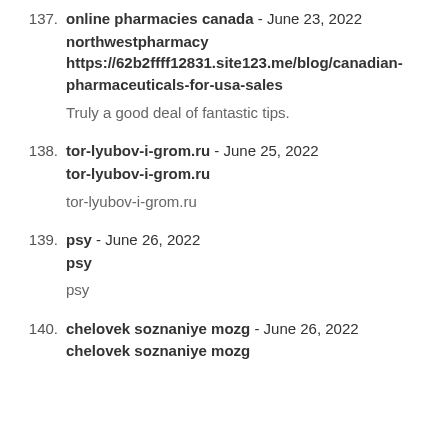137. online pharmacies canada - June 23, 2022
northwestpharmacy
https://62b2ffff12831.site123.me/blog/canadian-pharmaceuticals-for-usa-sales

Truly a good deal of fantastic tips.
138. tor-lyubov-i-grom.ru - June 25, 2022
tor-lyubov-i-grom.ru

tor-lyubov-i-grom.ru
139. psy - June 26, 2022
psy

psy
140. chelovek soznaniye mozg - June 26, 2022
chelovek soznaniye mozg